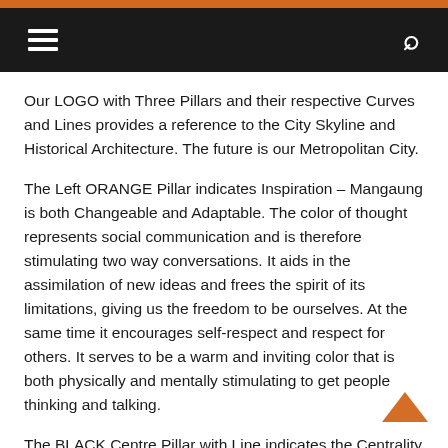Navigation header with hamburger menu and search icon
Our LOGO with Three Pillars and their respective Curves and Lines provides a reference to the City Skyline and Historical Architecture. The future is our Metropolitan City.
The Left ORANGE Pillar indicates Inspiration – Mangaung is both Changeable and Adaptable. The color of thought represents social communication and is therefore stimulating two way conversations. It aids in the assimilation of new ideas and frees the spirit of its limitations, giving us the freedom to be ourselves. At the same time it encourages self-respect and respect for others. It serves to be a warm and inviting color that is both physically and mentally stimulating to get people thinking and talking.
The BLACK Centre Pillar with Line indicates the Centrality – Mangaung is rooted as being in the Centre of South Africa. The color of authority represents strength, seriousness,